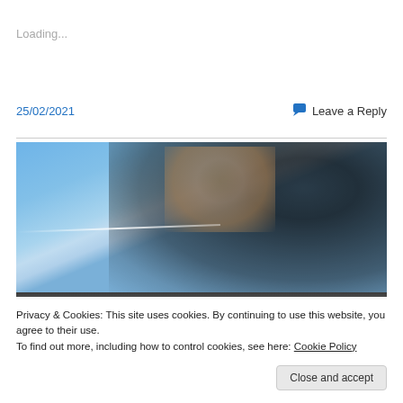Loading...
25/02/2021
Leave a Reply
[Figure (photo): Smoke cloud and contrail against a blue sky, with dark storm-like smoke dominating the right portion of the image and brownish smoke in the upper-center.]
Privacy & Cookies: This site uses cookies. By continuing to use this website, you agree to their use.
To find out more, including how to control cookies, see here: Cookie Policy
Close and accept